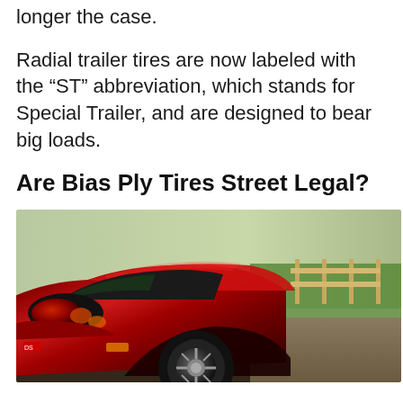longer the case.
Radial trailer tires are now labeled with the “ST” abbreviation, which stands for Special Trailer, and are designed to bear big loads.
Are Bias Ply Tires Street Legal?
[Figure (photo): Close-up photo of a red sports car (Mazda Miata) from the front-left angle, showing the headlights, hood, and front wheel with tire, parked on a gravel/dirt surface with green grass and a fence visible in the background.]